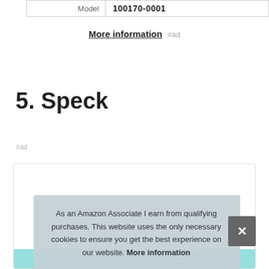| Model | 100170-0001 |
More information #ad
5. Speck
#ad
As an Amazon Associate I earn from qualifying purchases. This website uses the only necessary cookies to ensure you get the best experience on our website. More information